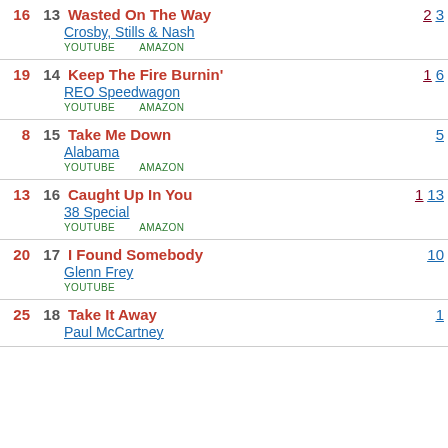16 13 Wasted On The Way / Crosby, Stills & Nash / YOUTUBE AMAZON / peak: 2 weeks: 3
19 14 Keep The Fire Burnin' / REO Speedwagon / YOUTUBE AMAZON / peak: 1 weeks: 6
8 15 Take Me Down / Alabama / YOUTUBE AMAZON / weeks: 5
13 16 Caught Up In You / 38 Special / YOUTUBE AMAZON / peak: 1 weeks: 13
20 17 I Found Somebody / Glenn Frey / YOUTUBE / weeks: 10
25 18 Take It Away / Paul McCartney / weeks: 1